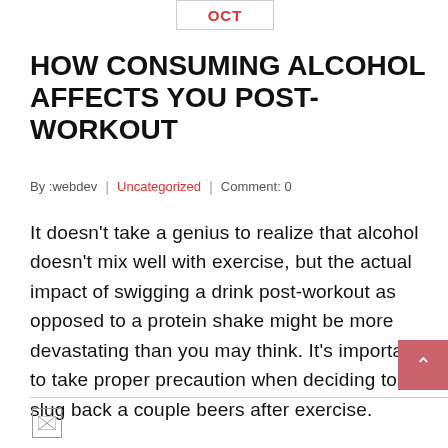OCT
HOW CONSUMING ALCOHOL AFFECTS YOU POST-WORKOUT
By :webdev | Uncategorized | Comment: 0
It doesn't take a genius to realize that alcohol doesn't mix well with exercise, but the actual impact of swigging a drink post-workout as opposed to a protein shake might be more devastating than you may think. It's important to take proper precaution when deciding to slug back a couple beers after exercise.
[Figure (photo): Image placeholder at bottom of page]